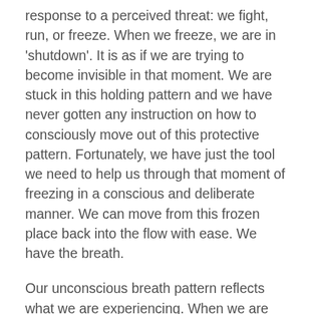response to a perceived threat: we fight, run, or freeze. When we freeze, we are in 'shutdown'. It is as if we are trying to become invisible in that moment. We are stuck in this holding pattern and we have never gotten any instruction on how to consciously move out of this protective pattern. Fortunately, we have just the tool we need to help us through that moment of freezing in a conscious and deliberate manner. We can move from this frozen place back into the flow with ease. We have the breath.
Our unconscious breath pattern reflects what we are experiencing. When we are calm, our breath is slow and we take relatively deep breaths. Our heartbeat follows the breath, so as our breath pattern remains regular and even, so does the rhythm of the heartbeat. When we feel fear, a threat to our safety, our breathing unconsciously shifts to a shorter...